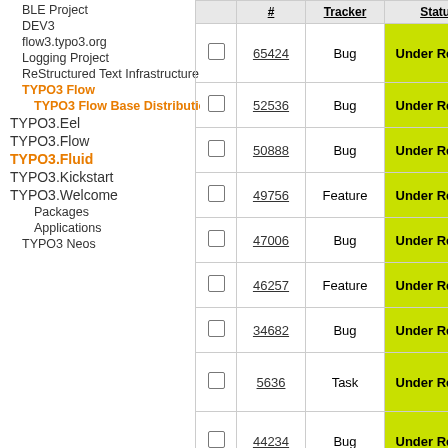BLE Project
DEV3
flow3.typo3.org
Logging Project
ReStructured Text Infrastructure
TYPO3 Flow
TYPO3 Flow Base Distribution
TYPO3.Eel
TYPO3.Flow
TYPO3.Fluid
TYPO3.Kickstart
TYPO3.Welcome
Packages
Applications
TYPO3 Neos
|  | # | Tracker | Status |
| --- | --- | --- | --- |
| ☐ | 65424 | Bug | Under Review |
| ☐ | 52536 | Bug | Under Review |
| ☐ | 50888 | Bug | Under Review |
| ☐ | 49756 | Feature | Under Review |
| ☐ | 47006 | Bug | Under Review |
| ☐ | 46257 | Feature | Under Review |
| ☐ | 34682 | Bug | Under Review |
| ☐ | 5636 | Task | Under Review |
| ☐ | 44234 | Bug | Under Review |
| ☐ | 46091 | Task | Needs Feedback |